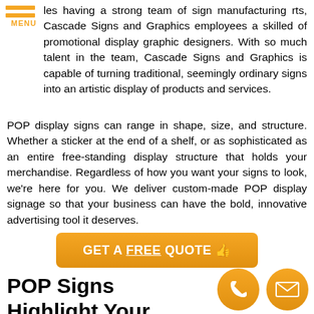[Figure (logo): Orange hamburger menu icon with three horizontal lines and MENU text below]
les having a strong team of sign manufacturing rts, Cascade Signs and Graphics employees a skilled of promotional display graphic designers. With so much talent in the team, Cascade Signs and Graphics is capable of turning traditional, seemingly ordinary signs into an artistic display of products and services.
POP display signs can range in shape, size, and structure. Whether a sticker at the end of a shelf, or as sophisticated as an entire free-standing display structure that holds your merchandise. Regardless of how you want your signs to look, we're here for you. We deliver custom-made POP display signage so that your business can have the bold, innovative advertising tool it deserves.
[Figure (other): Orange rounded rectangle button with white bold text: GET A FREE QUOTE with hand pointer icon]
POP Signs Highlight Your Products
[Figure (other): Orange circular phone icon]
[Figure (other): Orange circular mail/envelope icon]